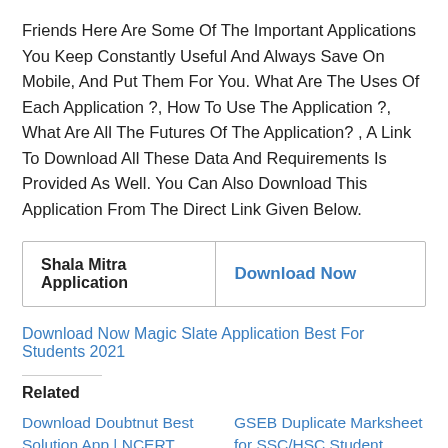Friends Here Are Some Of The Important Applications You Keep Constantly Useful And Always Save On Mobile, And Put Them For You. What Are The Uses Of Each Application ?, How To Use The Application ?, What Are All The Futures Of The Application? , A Link To Download All These Data And Requirements Is Provided As Well. You Can Also Download This Application From The Direct Link Given Below.
| Shala Mitra Application | Download Now |
| --- | --- |
| Shala Mitra Application | Download Now |
Download Now Magic Slate Application Best For Students 2021
Related
Download Doubtnut Best Solution App | NCERT Solutions, IIT JEE & NEET App
GSEB Duplicate Marksheet for SSC/HSC Student Online at www.gsebeservice.com
March 22, 2022